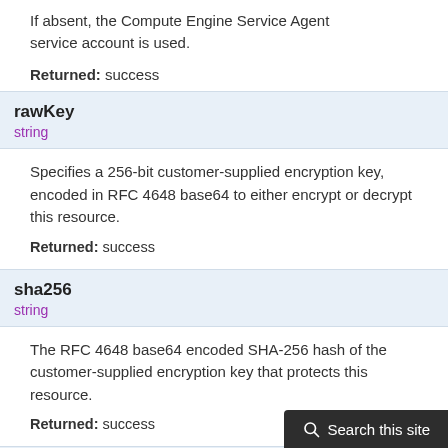If absent, the Compute Engine Service Agent service account is used.
Returned: success
rawKey
string
Specifies a 256-bit customer-supplied encryption key, encoded in RFC 4648 base64 to either encrypt or decrypt this resource.
Returned: success
sha256
string
The RFC 4648 base64 encoded SHA-256 hash of the customer-supplied encryption key that protects this resource.
Returned: success
id
integer
The unique identifier for the resource.